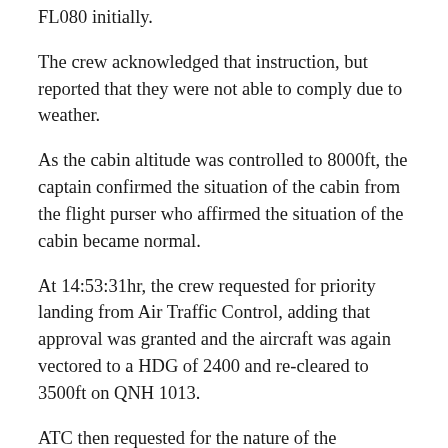FL080 initially.
The crew acknowledged that instruction, but reported that they were not able to comply due to weather.
As the cabin altitude was controlled to 8000ft, the captain confirmed the situation of the cabin from the flight purser who affirmed the situation of the cabin became normal.
At 14:53:31hr, the crew requested for priority landing from Air Traffic Control, adding that approval was granted and the aircraft was again vectored to a HDG of 2400 and re-cleared to 3500ft on QNH 1013.
ATC then requested for the nature of the emergency, which the crew relayed as “EMERGENCY DESCENT,” adding that the aircraft was further cleared to 2200ft on QNH1013for Instrument Landing System approach runway 18L.